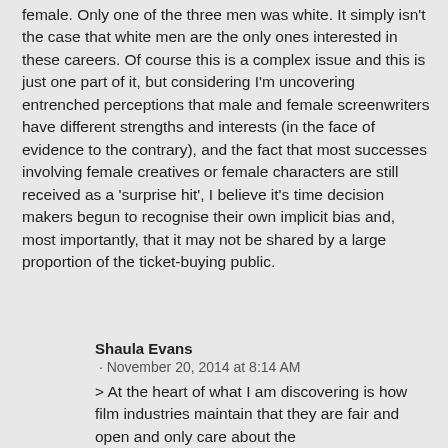female. Only one of the three men was white. It simply isn't the case that white men are the only ones interested in these careers. Of course this is a complex issue and this is just one part of it, but considering I'm uncovering entrenched perceptions that male and female screenwriters have different strengths and interests (in the face of evidence to the contrary), and the fact that most successes involving female creatives or female characters are still received as a 'surprise hit', I believe it's time decision makers begun to recognise their own implicit bias and, most importantly, that it may not be shared by a large proportion of the ticket-buying public.
Shaula Evans · November 20, 2014 at 8:14 AM > At the heart of what I am discovering is how film industries maintain that they are fair and open and only care about the